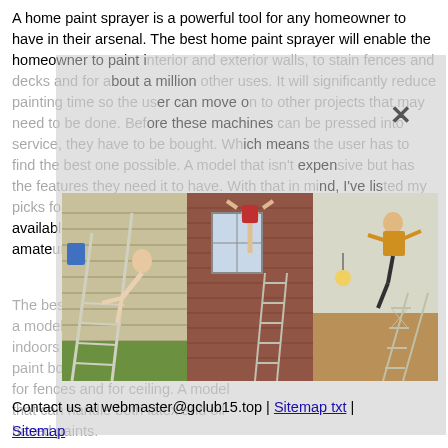A home paint sprayer is a powerful tool for any homeowner to have in their arsenal. The best home paint sprayer will enable the homeowner to paint interior and exterior walls, to stain fences and decks and for about a million other uses. It will significantly reduce painting time so the user can move on to other projects that may need to be done. Before these machines can be pressed into service, they have to be bought. Which means the user has to find the best one possible. A model that isn't expensive but has the features they need it to have. With that in mind, I've listed my picks for the ten best home paint sprayer models currently available for both the professional painter and the enthusiastic amateur.
[Figure (photo): Three photos side by side showing people falling off ladders while painting houses. Left: person falling backward off a ladder against a beige house exterior. Middle: person hanging from window sill of a brick house. Right: person falling inside a room with a ladder.]
Broomfield Colorado
Contact us at webmaster@gclub15.top | Sitemap txt | Sitemap